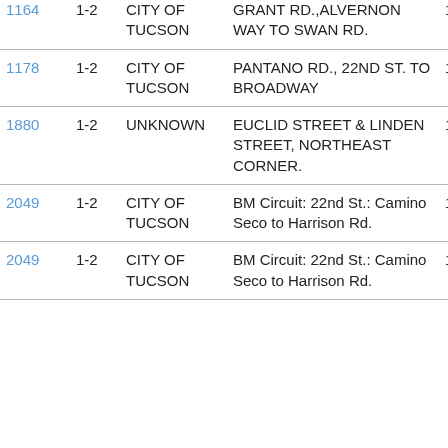| ID | Num | Agency | Description | Code |
| --- | --- | --- | --- | --- |
| 1164 | 1-2 | CITY OF TUCSON | GRANT RD.,ALVERNON WAY TO SWAN RD. | 14S |
| 1178 | 1-2 | CITY OF TUCSON | PANTANO RD., 22ND ST. TO BROADWAY | 14S |
| 1880 | 1-2 | UNKNOWN | EUCLID STREET & LINDEN STREET, NORTHEAST CORNER. | 14S |
| 2049 | 1-2 | CITY OF TUCSON | BM Circuit: 22nd St.: Camino Seco to Harrison Rd. | 14S |
| 2049 | 1-2 | CITY OF TUCSON | BM Circuit: 22nd St.: Camino Seco to Harrison Rd. | 14S |